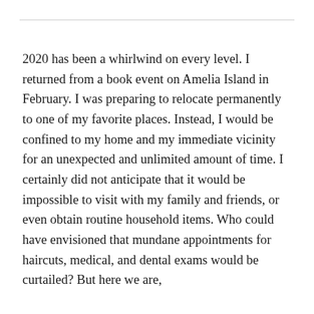2020 has been a whirlwind on every level. I returned from a book event on Amelia Island in February. I was preparing to relocate permanently to one of my favorite places. Instead, I would be confined to my home and my immediate vicinity for an unexpected and unlimited amount of time. I certainly did not anticipate that it would be impossible to visit with my family and friends, or even obtain routine household items. Who could have envisioned that mundane appointments for haircuts, medical, and dental exams would be curtailed? But here we are,